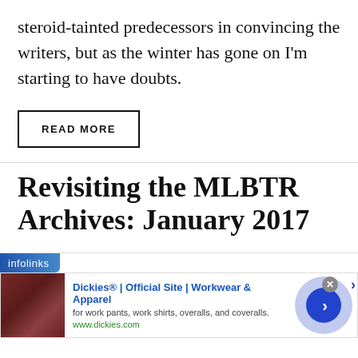steroid-tainted predecessors in convincing the writers, but as the winter has gone on I'm starting to have doubts.
READ MORE
Revisiting the MLBTR Archives: January 2017
[Figure (other): Infolinks advertisement banner for Dickies Official Site showing workwear products with a thumbnail image, ad title, description, URL, and a blue arrow button]